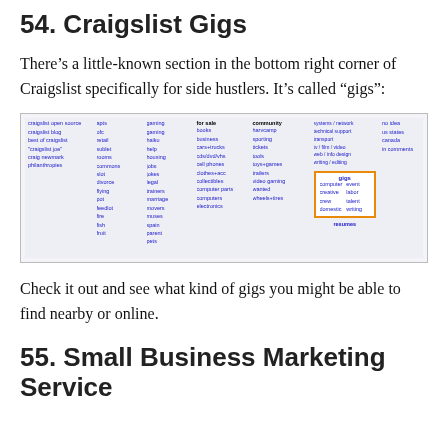54. Craigslist Gigs
There’s a little-known section in the bottom right corner of Craigslist specifically for side hustlers. It’s called “gigs”:
[Figure (screenshot): Screenshot of Craigslist website showing the 'gigs' section highlighted with an orange/yellow box in the bottom right area, with various category links visible across the page.]
Check it out and see what kind of gigs you might be able to find nearby or online.
55. Small Business Marketing Service